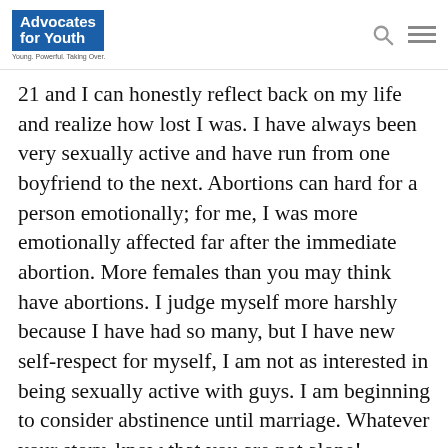Advocates for Youth — Young. Powerful. Taking Over.
21 and I can honestly reflect back on my life and realize how lost I was. I have always been very sexually active and have run from one boyfriend to the next. Abortions can hard for a person emotionally; for me, I was more emotionally affected far after the immediate abortion. More females than you may think have abortions. I judge myself more harshly because I have had so many, but I have new self-respect for myself, I am not as interested in being sexually active with guys. I am beginning to consider abstinence until marriage. Whatever your story, know that you are not alone!